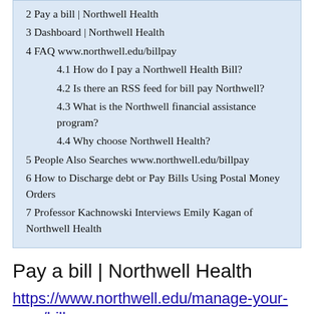2 Pay a bill | Northwell Health
3 Dashboard | Northwell Health
4 FAQ www.northwell.edu/billpay
4.1 How do I pay a Northwell Health Bill?
4.2 Is there an RSS feed for bill pay Northwell?
4.3 What is the Northwell financial assistance program?
4.4 Why choose Northwell Health?
5 People Also Searches www.northwell.edu/billpay
6 How to Discharge debt or Pay Bills Using Postal Money Orders
7 Professor Kachnowski Interviews Emily Kagan of Northwell Health
Pay a bill | Northwell Health
https://www.northwell.edu/manage-your-care/billpay
It only takes 2 minutes to access more bill pay features. Verify identity. Pay multiple